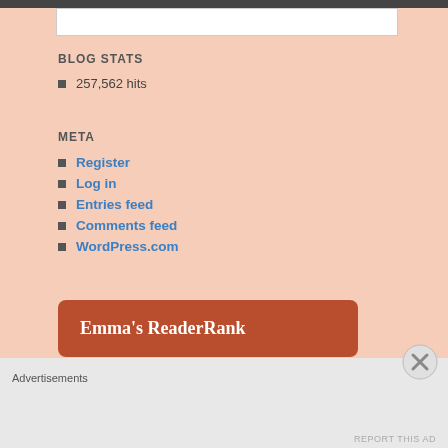[Figure (other): Top bar and image box at top of page]
BLOG STATS
257,562 hits
META
Register
Log in
Entries feed
Comments feed
WordPress.com
[Figure (other): Emma's ReaderRank orange/red rounded box]
Advertisements
REPORT THIS AD